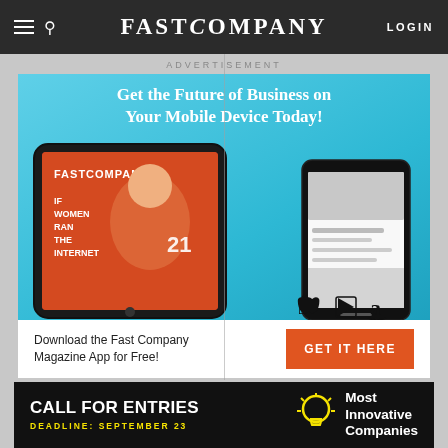FAST COMPANY | LOGIN
ADVERTISEMENT
[Figure (illustration): Fast Company magazine app advertisement. Light blue background with bold white serif headline: 'Get the Future of Business on Your Mobile Device Today!' showing a tablet displaying the Fast Company 'If Women Ran the Internet' cover with a woman in an orange blazer, and a smartphone showing the Fast Company app. Apple, Google Play, and Amazon app store icons. Bottom white strip with 'Download the Fast Company Magazine App for Free!' and an orange 'GET IT HERE' button.]
[Figure (illustration): Black banner ad: 'CALL FOR ENTRIES' in large white bold text, 'DEADLINE: SEPTEMBER 23' in yellow text, lightbulb icon, 'Most Innovative Companies' in white bold text on right.]